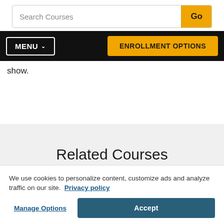Search Courses
MENU  ENROLLMENT OPTIONS
show.
Related Courses
[Figure (photo): Photo of a person working on a laptop with plants in the background]
We use cookies to personalize content, customize ads and analyze traffic on our site.  Privacy policy
Manage Options  Accept